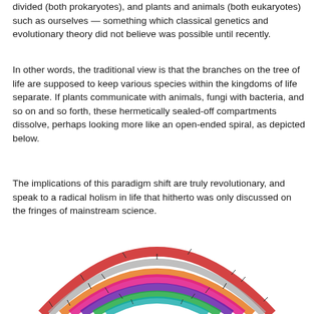divided (both prokaryotes), and plants and animals (both eukaryotes) such as ourselves — something which classical genetics and evolutionary theory did not believe was possible until recently.
In other words, the traditional view is that the branches on the tree of life are supposed to keep various species within the kingdoms of life separate. If plants communicate with animals, fungi with bacteria, and so on and so forth, these hermetically sealed-off compartments dissolve, perhaps looking more like an open-ended spiral, as depicted below.
The implications of this paradigm shift are truly revolutionary, and speak to a radical holism in life that hitherto was only discussed on the fringes of mainstream science.
[Figure (illustration): A circular/spiral diagram showing concentric arcs of colored bands representing different kingdoms of life (bacteria, archaea, plants, animals, fungi etc.) in an open-ended spiral arrangement. Bands are colored in orange, pink/magenta, purple, green, red, grey, and teal, with radial tick marks and labels.]